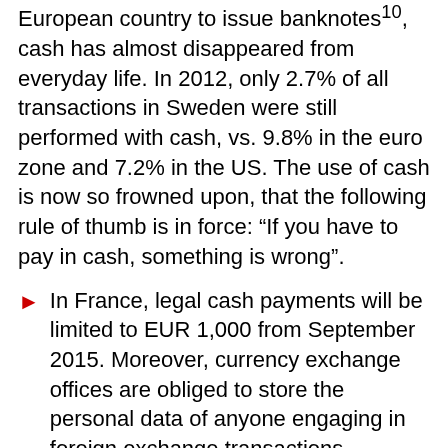European country to issue banknotes10, cash has almost disappeared from everyday life. In 2012, only 2.7% of all transactions in Sweden were still performed with cash, vs. 9.8% in the euro zone and 7.2% in the US. The use of cash is now so frowned upon, that the following rule of thumb is in force: “If you have to pay in cash, something is wrong”.
In France, legal cash payments will be limited to EUR 1,000 from September 2015. Moreover, currency exchange offices are obliged to store the personal data of anyone engaging in foreign exchange transactions exceeding EUR 1,000. Purchases of gold also have to be reported to the authorities from now on, as well as gold shipments within the country, which curiously have to be reported to customs. As one might expect, the measures are justified by invoking the “war on terror”.
In Germany, Bundesbank board chairman